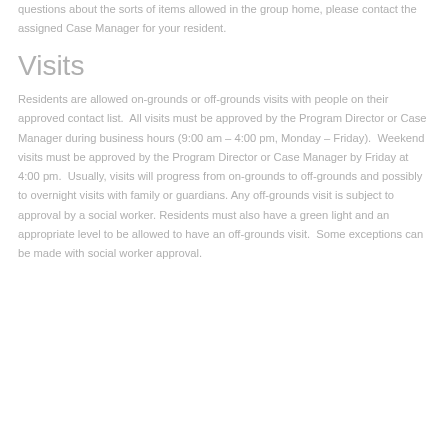questions about the sorts of items allowed in the group home, please contact the assigned Case Manager for your resident.
Visits
Residents are allowed on-grounds or off-grounds visits with people on their approved contact list.  All visits must be approved by the Program Director or Case Manager during business hours (9:00 am – 4:00 pm, Monday – Friday).  Weekend visits must be approved by the Program Director or Case Manager by Friday at 4:00 pm.  Usually, visits will progress from on-grounds to off-grounds and possibly to overnight visits with family or guardians.  Any off-grounds visit is subject to approval by a social worker.  Residents must also have a green light and an appropriate level to be allowed to have an off-grounds visit.  Some exceptions can be made with social worker approval.